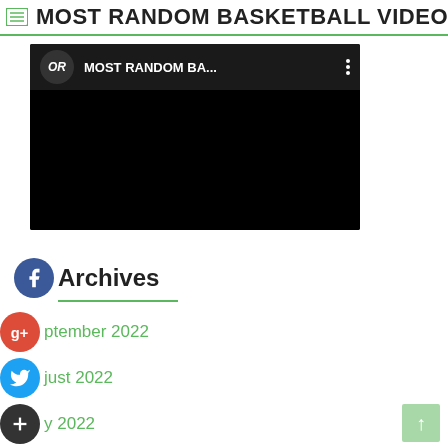MOST RANDOM BASKETBALL VIDEO!
[Figure (screenshot): YouTube video thumbnail showing channel 'OR' with title 'MOST RANDOM BA...' on dark background]
Archives
September 2022
August 2022
July 2022
June 2022
May 2022